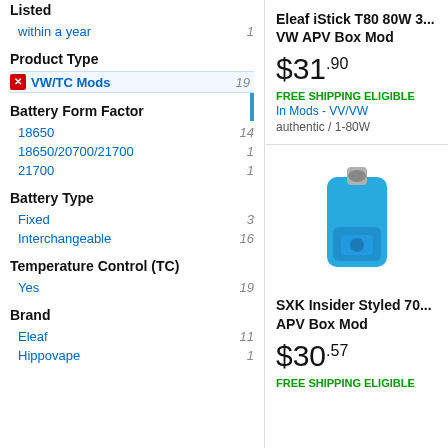Listed
within a year  1
Product Type
VW/TC Mods  19
Battery Form Factor
18650  14
18650/20700/21700  1
21700  1
Battery Type
Fixed  3
Interchangeable  16
Temperature Control (TC)
Yes  19
Brand
Eleaf  11
Hippovape  1
Eleaf iStick T80 80W 3... VW APV Box Mod
$31.90
FREE SHIPPING ELIGIBLE
In Mods - VV/VW
authentic / 1-80W
[Figure (photo): Blue SXK Insider Styled 70 APV Box Mod device]
SXK Insider Styled 70... APV Box Mod
$30.57
FREE SHIPPING ELIGIBLE